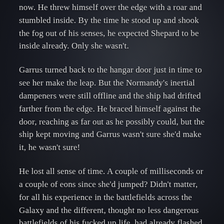now. He threw himself over the edge with a roar and stumbled inside. By the time he stood up and shook the fog out of his senses, he expected Shepard to be inside already. Only she wasn't.
Garrus turned back to the hangar door just in time to see her make the leap. But the Normandy's inertial dampeners were still offline and the ship had drifted farther from the edge. He braced himself against the door, reaching as far out as he possibly could, but the ship kept moving and Garrus wasn't sure she'd make it, he wasn't sure!
He lost all sense of time. A couple of milliseconds or a couple of eons since she'd jumped? Didn't matter, for all his experience in the battlefields across the Galaxy and the different, thought no less dangerous battlefields of his fucked up life, had already flashed